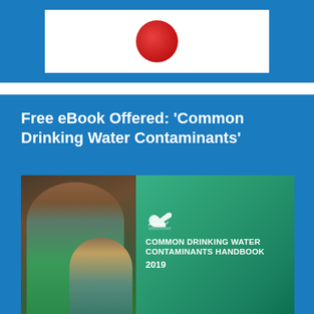[Figure (photo): Top blue banner section with a white box containing a red circular logo/image]
Free eBook Offered: ‘Common Drinking Water Contaminants’
[Figure (photo): Book cover of 'Common Drinking Water Contaminants Handbook 2019' showing a woman and child on a green/teal background with a swan logo]